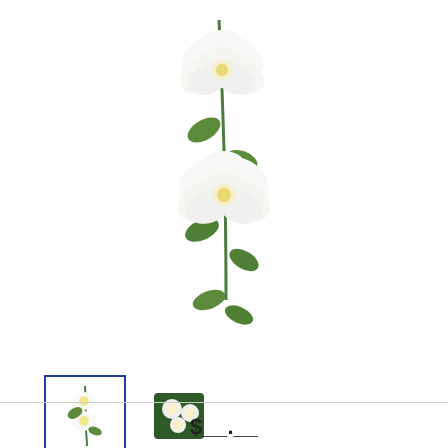[Figure (photo): White artificial peony cane garland product photo showing white peony flowers with green stems and leaves against white background]
[Figure (photo): Two product thumbnail images: first selected with blue border showing garland hanging, second showing top-down view of green base with white flowers]
74" White Artificial Peony Cane Garland
PORTOFINO INT'L TRADING  |  25-0653WH